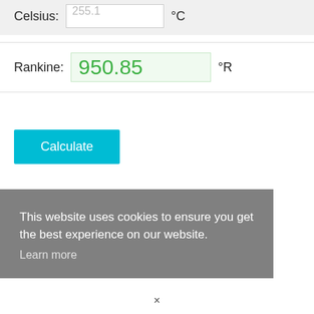Celsius: 255.1 °C
Rankine: 950.85 °R
Calculate
This website uses cookies to ensure you get the best experience on our website. Learn more